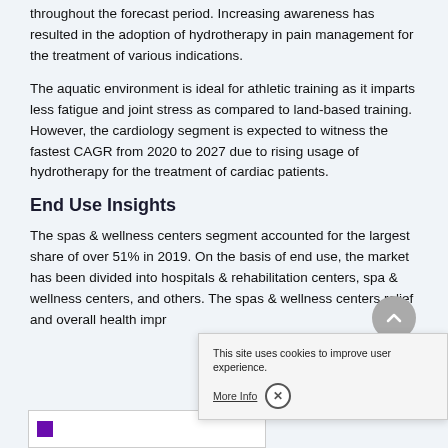throughout the forecast period. Increasing awareness has resulted in the adoption of hydrotherapy in pain management for the treatment of various indications.
The aquatic environment is ideal for athletic training as it imparts less fatigue and joint stress as compared to land-based training. However, the cardiology segment is expected to witness the fastest CAGR from 2020 to 2027 due to rising usage of hydrotherapy for the treatment of cardiac patients.
End Use Insights
The spas & wellness centers segment accounted for the largest share of over 51% in 2019. On the basis of end use, the market has been divided into hospitals & rehabilitation centers, spa & wellness centers, and others. The spas & wellness centers... relief and overall health impr...